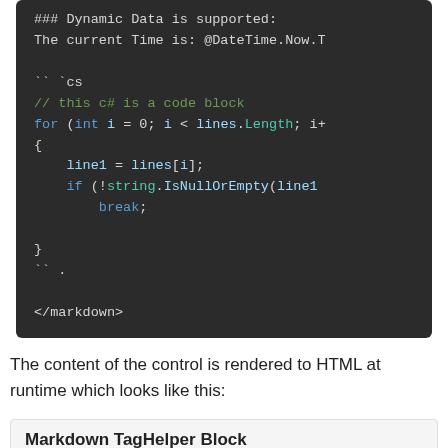[Figure (screenshot): Dark-themed code editor screenshot showing C# code block inside markdown tags. Code includes a comment line '### Dynamic Data is supported:', text 'The current Time is: @DateTime.Now.T', then a code fence '`` `cs', a comment '// this c# is a code block', a for loop 'for (int i = 0; i < lines.Length; i+', opening brace, 'line1 = lines[i];', 'if (!string.IsNullOrEmpty(line1', 'break;', closing brace, closing fence '`` .', and '</markdown>' tag.]
The content of the control is rendered to HTML at runtime which looks like this:
Markdown TagHelper Block